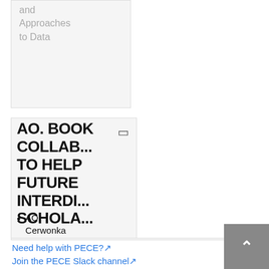[Figure (screenshot): Partial card showing text 'and Approaches to Data' in grey on a light grey background]
[Figure (screenshot): Card with bookmark icon, large bold title 'AO. BOOK COLLAB... TO HELP FUTURE INTERDI... SCHOLA...' and a list item beginning 'AO: Cerwonka writes: "one of']
AO. BOOK COLLAB... TO HELP FUTURE INTERDI... SCHOLA...
AO: Cerwonka writes: "one of
Need help with PECE?
Join the PECE Slack channel